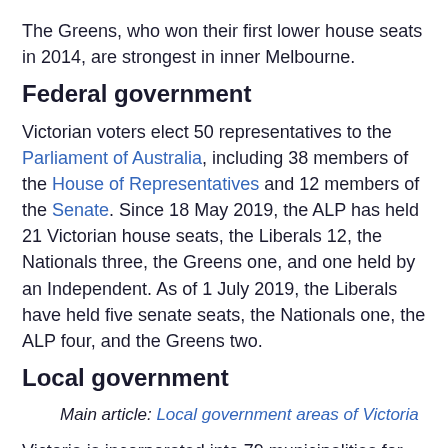The Greens, who won their first lower house seats in 2014, are strongest in inner Melbourne.
Federal government
Victorian voters elect 50 representatives to the Parliament of Australia, including 38 members of the House of Representatives and 12 members of the Senate. Since 18 May 2019, the ALP has held 21 Victorian house seats, the Liberals 12, the Nationals three, the Greens one, and one held by an Independent. As of 1 July 2019, the Liberals have held five senate seats, the Nationals one, the ALP four, and the Greens two.
Local government
Main article: Local government areas of Victoria
Victoria is incorporated into 79 municipalities for